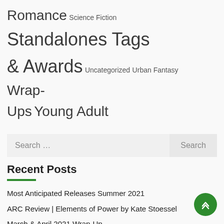Romance Science Fiction Standalones Tags & Awards Uncategorized Urban Fantasy Wrap-Ups Young Adult
Search ...
Recent Posts
Most Anticipated Releases Summer 2021
ARC Review | Elements of Power by Kate Stoessel
March & April 2021 Wrap-Up
Release Blitz & Review | Until Autumn by Sheridan Anne